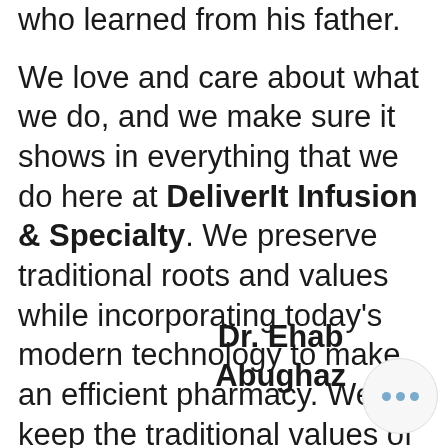who learned from his father.

We love and care about what we do, and we make sure it shows in everything that we do here at DeliverIt Infusion & Specialty. We preserve traditional roots and values while incorporating today's modern technology to make an efficient pharmacy. We keep the traditional values of making it personable, affordable, convenient, and very reachable to YOU.
Dr. Ehab Abughaz